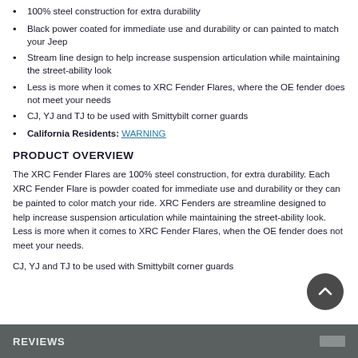100% steel construction for extra durability
Black power coated for immediate use and durability or can painted to match your Jeep
Stream line design to help increase suspension articulation while maintaining the street-ability look
Less is more when it comes to XRC Fender Flares, where the OE fender does not meet your needs
CJ, YJ and TJ to be used with Smittybilt corner guards
California Residents: WARNING
PRODUCT OVERVIEW
The XRC Fender Flares are 100% steel construction, for extra durability. Each XRC Fender Flare is powder coated for immediate use and durability or they can be painted to color match your ride. XRC Fenders are streamline designed to help increase suspension articulation while maintaining the street-ability look. Less is more when it comes to XRC Fender Flares, when the OE fender does not meet your needs.
CJ, YJ and TJ to be used with Smittybilt corner guards
REVIEWS